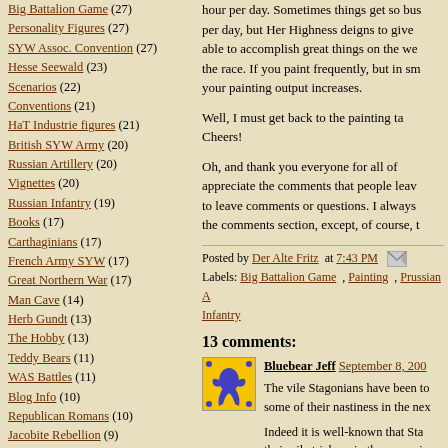Big Battalion Game (27)
Personality Figures (27)
SYW Assoc. Convention (27)
Hesse Seewald (23)
Scenarios (22)
Conventions (21)
HaT Industrie figures (21)
British SYW Army (20)
Russian Artillery (20)
Vignettes (20)
Russian Infantry (19)
Books (17)
Carthaginians (17)
French Army SYW (17)
Great Northern War (17)
Man Cave (14)
Herb Gundt (13)
The Hobby (13)
Teddy Bears (11)
WAS Battles (11)
Blog Info (10)
Republican Romans (10)
Jacobite Rebellion (9)
Battlefields (3)
Blog Archive
► 2022 (64)
► 2021 (103)
hour per day. Sometimes things get so bus per day, but Her Highness deigns to give able to accomplish great things on the we the race. If you paint frequently, but in sm your painting output increases.
Well, I must get back to the painting ta Cheers!
Oh, and thank you everyone for all of appreciate the comments that people leav to leave comments or questions. I always the comments section, except, of course, t
Posted by Der Alte Fritz at 7:43 PM Labels: Big Battalion Game , Painting , Prussian A Infantry
13 comments:
[Figure (illustration): Yellow heraldic avatar with blue lion rampant in center and blue dots in corners]
Bluebear Jeff September 8, 200 The vile Stagonians have been to some of their nastiness in the nex Indeed it is well-known that Sta their vile trickery in the upcomin